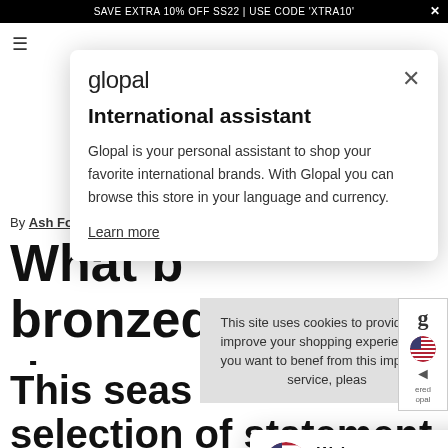SAVE EXTRA 10% OFF SS22 | USE CODE 'XTRA10'
By Ash Footwear+
What b bronzed p rise
This seas selection of statement sangals to
[Figure (screenshot): Glopal International assistant modal popup with logo, close button, heading 'International assistant', descriptive text about shopping in local language and currency, and a 'Learn more' link]
This site uses cookies to provide and improve your shopping experience. If you want to benefit from this improved service, pleas
[Figure (screenshot): Welcome to our American store popup with US flag, close button, redirect notice text, 'click here' link, and 'Powered by glopal' footer]